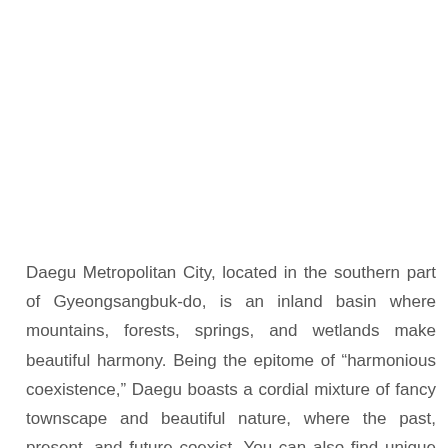Daegu Metropolitan City, located in the southern part of Gyeongsangbuk-do, is an inland basin where mountains, forests, springs, and wetlands make beautiful harmony. Being the epitome of “harmonious coexistence,” Daegu boasts a cordial mixture of fancy townscape and beautiful nature, where the past, present, and future coexist. You can also find unique streets where businesses in the same industry came